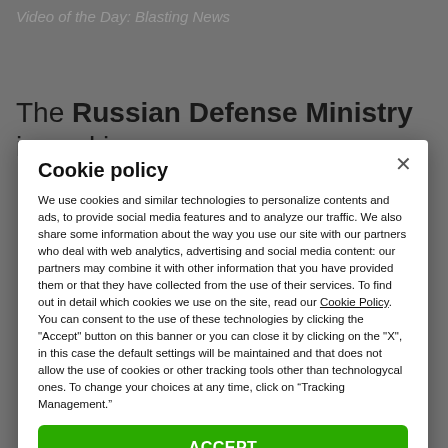Video of the Day: Blasting News
The Russian Defense Ministry is working on a
Cookie policy
We use cookies and similar technologies to personalize contents and ads, to provide social media features and to analyze our traffic. We also share some information about the way you use our site with our partners who deal with web analytics, advertising and social media content: our partners may combine it with other information that you have provided them or that they have collected from the use of their services. To find out in detail which cookies we use on the site, read our Cookie Policy. You can consent to the use of these technologies by clicking the "Accept" button on this banner or you can close it by clicking on the "X", in this case the default settings will be maintained and that does not allow the use of cookies or other tracking tools other than technologycal ones. To change your choices at any time, click on “Tracking Management.”
ACCEPT
TRACKERS MANAGEMENT
Show vendors | Show purposes